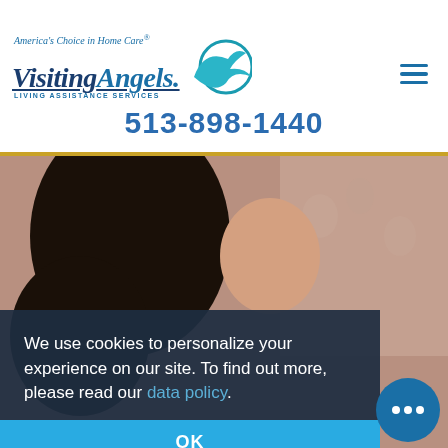[Figure (logo): Visiting Angels logo with tagline 'America's Choice in Home Care' and bird graphic, with 'LIVING ASSISTANCE SERVICES' below]
513-898-1440
[Figure (photo): Photo of a caregiver and elderly person, blurred/partial view showing hair and shoulders]
We use cookies to personalize your experience on our site. To find out more, please read our data policy.
OK